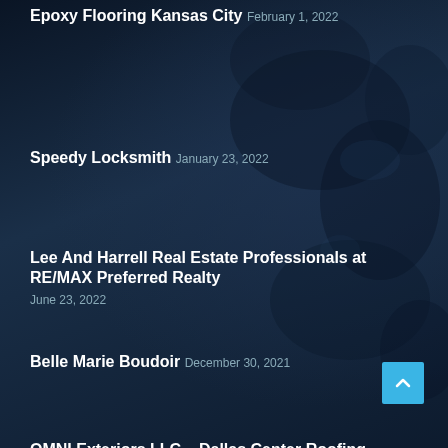Epoxy Flooring Kansas City
February 1, 2022
Speedy Locksmith
January 23, 2022
Lee And Harrell Real Estate Professionals at RE/MAX Preferred Realty
June 23, 2022
Belle Marie Boudoir
December 30, 2021
OMNI Exteriors LLC – Dallas Center Roofing Contractor
May 27, 2022